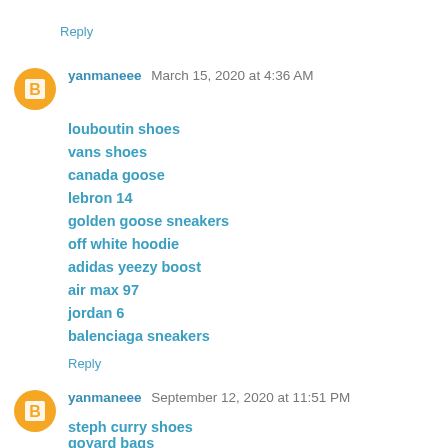Reply
yanmaneee  March 15, 2020 at 4:36 AM
louboutin shoes
vans shoes
canada goose
lebron 14
golden goose sneakers
off white hoodie
adidas yeezy boost
air max 97
jordan 6
balenciaga sneakers
Reply
yanmaneee  September 12, 2020 at 11:51 PM
steph curry shoes
goyard bags